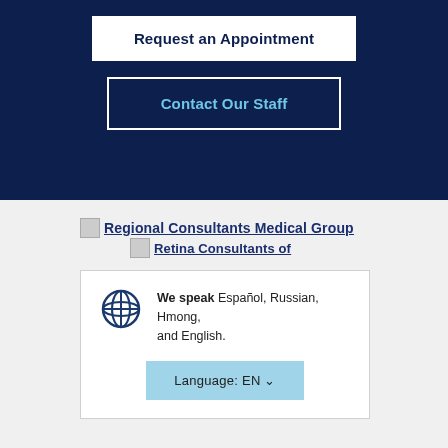Request an Appointment
Contact Our Staff
Regional Consultants Medical Group
Retina Consultants of
We speak Español, Russian, Hmong, and English.
Language: EN